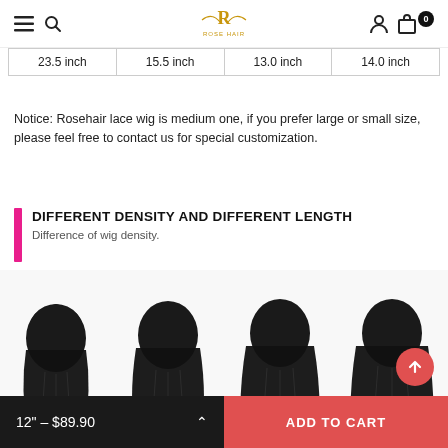Rose Hair navigation bar with menu, search, logo, account, and cart icons
| 23.5 inch | 15.5 inch | 13.0 inch | 14.0 inch |
Notice: Rosehair lace wig is medium one, if you prefer large or small size, please feel free to contact us for special customization.
DIFFERENT DENSITY AND DIFFERENT LENGTH
Difference of wig density.
[Figure (photo): Four mannequin heads showing wigs of different lengths/densities viewed from the back, with straight black hair.]
12" – $89.90 | ADD TO CART